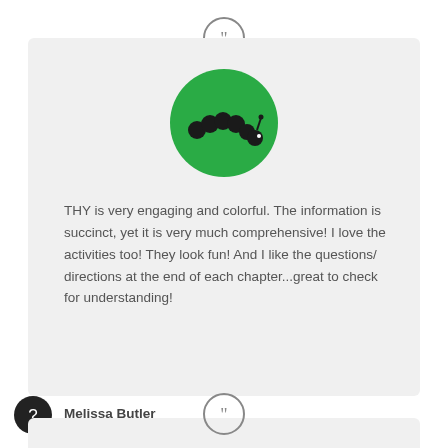[Figure (illustration): Closing quotation mark icon (double quotes) in a gray circle, top center above card]
[Figure (logo): Green circle with a caterpillar/worm logo in black]
THY is very engaging and colorful. The information is succinct, yet it is very much comprehensive! I love the activities too! They look fun! And I like the questions/ directions at the end of each chapter...great to check for understanding!
Melissa Butler
[Figure (illustration): Dark circular button with a question mark icon, bottom left]
[Figure (illustration): Closing quotation mark icon (double quotes) in a gray circle, bottom center above second card]